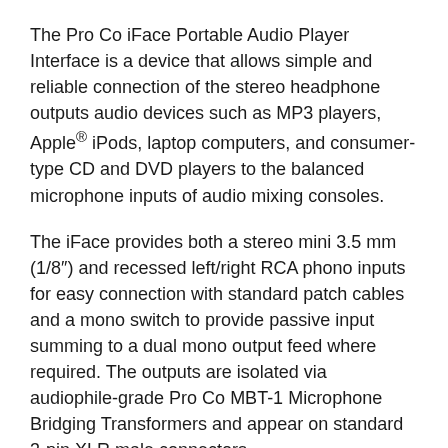The Pro Co iFace Portable Audio Player Interface is a device that allows simple and reliable connection of the stereo headphone outputs audio devices such as MP3 players, Apple® iPods, laptop computers, and consumer-type CD and DVD players to the balanced microphone inputs of audio mixing consoles.
The iFace provides both a stereo mini 3.5 mm (1/8″) and recessed left/right RCA phono inputs for easy connection with standard patch cables and a mono switch to provide passive input summing to a dual mono output feed where required. The outputs are isolated via audiophile-grade Pro Co MBT-1 Microphone Bridging Transformers and appear on standard 3-pin XLR male connectors.
The transformers offer wide bandwidth and low distortion and phase shift, and are magnetically shielded in mu-metal cans and electrostatically isolated with dual Faraday shields. The result is near-ideal rejection of interference from all sources of RFI and